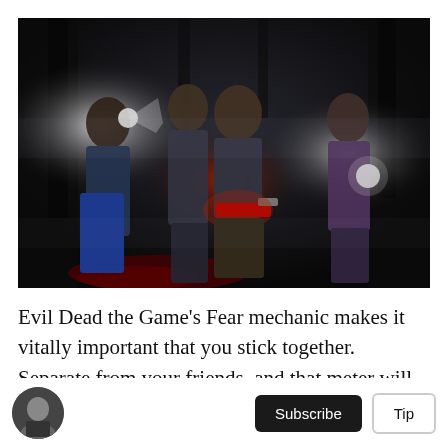[Figure (photo): Dark promotional screenshot/artwork from Evil Dead the Game showing four characters standing together in a dark wooded environment, each holding glowing lights or weapons. The central character is crouching and holding a chainsaw with a red glow.]
Evil Dead the Game's Fear mechanic makes it vitally important that you stick together. Separate from your friends, and that meter will fill up quick